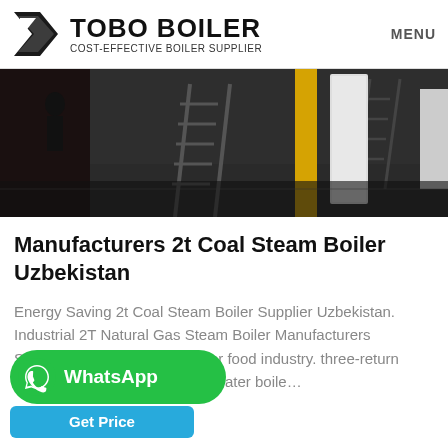TOBO BOILER – COST-EFFECTIVE BOILER SUPPLIER | MENU
[Figure (photo): Industrial boiler factory floor interior with ladders, equipment, and a yellow pillar.]
Manufacturers 2t Coal Steam Boiler Uzbekistan
Energy Saving 2t Coal Steam Boiler Supplier Uzbekistan. Industrial 2T Natural Gas Steam Boiler Manufacturers Singapore. 2t h steam boiler for food industry. three-return …npany Sitong 2t/h hot water boile…